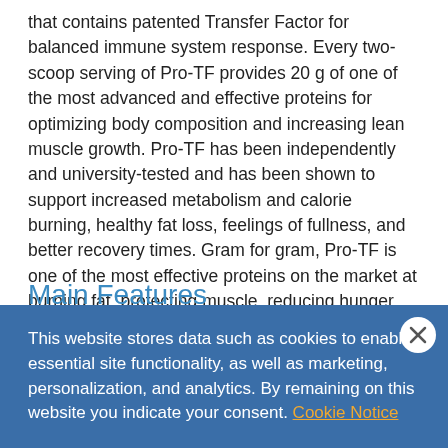that contains patented Transfer Factor for balanced immune system response. Every two-scoop serving of Pro-TF provides 20 g of one of the most advanced and effective proteins for optimizing body composition and increasing lean muscle growth. Pro-TF has been independently and university-tested and has been shown to support increased metabolism and calorie burning, healthy fat loss, feelings of fullness, and better recovery times. Gram for gram, Pro-TF is one of the most effective proteins on the market at burning fat, protecting muscle, reducing hunger, and supporting body transformation.*
Main Features
• Includes a critically essential protein source for your body plus 300
This website stores data such as cookies to enable essential site functionality, as well as marketing, personalization, and analytics. By remaining on this website you indicate your consent. Cookie Notice